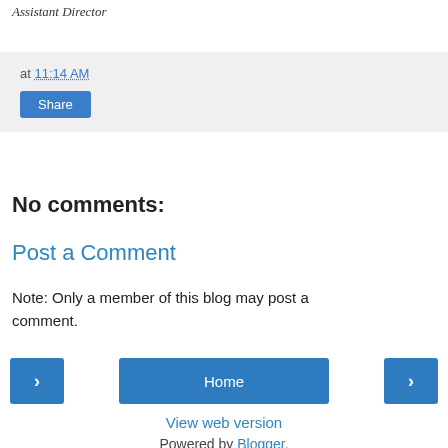Assistant Director
at 11:14 AM
Share
No comments:
Post a Comment
Note: Only a member of this blog may post a comment.
‹
Home
›
View web version
Powered by Blogger.